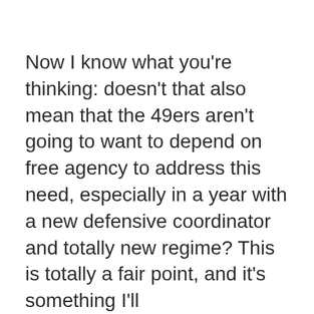Now I know what you're thinking: doesn't that also mean that the 49ers aren't going to want to depend on free agency to address this need, especially in a year with a new defensive coordinator and totally new regime? This is totally a fair point, and it's something I'll